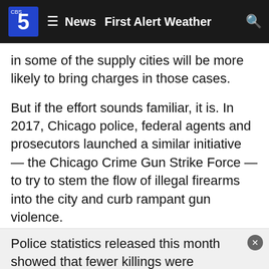CBS 5 News | First Alert Weather
in some of the supply cities will be more likely to bring charges in those cases.
But if the effort sounds familiar, it is. In 2017, Chicago police, federal agents and prosecutors launched a similar initiative — the Chicago Crime Gun Strike Force — to try to stem the flow of illegal firearms into the city and curb rampant gun violence.
The Justice Department said that strike force was formed in response to a surge in firearm violence and its work is continuing, but it has been focused locally in Chicago on reducing violence and not on gun trafficking from other jurisdictions. That's been the case with similar gun task forces, too, including in New York.
Police statistics released this month showed that fewer killings were reported over the first six months of 2021 in